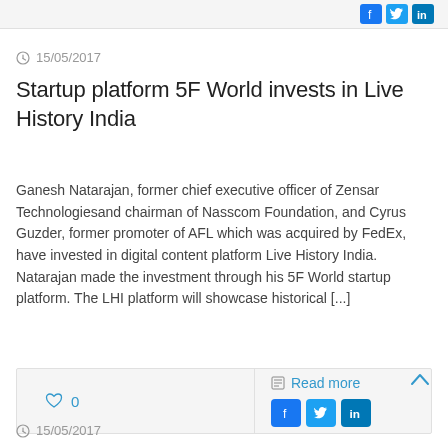15/05/2017
Startup platform 5F World invests in Live History India
Ganesh Natarajan, former chief executive officer of Zensar Technologiesand chairman of Nasscom Foundation, and Cyrus Guzder, former promoter of AFL which was acquired by FedEx, have invested in digital content platform Live History India. Natarajan made the investment through his 5F World startup platform. The LHI platform will showcase historical [...]
0  Read more
15/05/2017